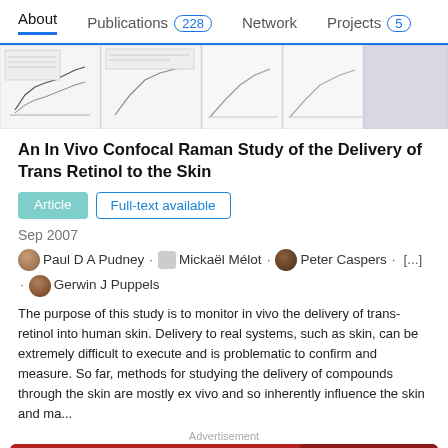About   Publications 228   Network   Projects 5
[Figure (other): Thumbnail strip of scientific paper figures (graphs and charts from the article)]
An In Vivo Confocal Raman Study of the Delivery of Trans Retinol to the Skin
Article   Full-text available
Sep 2007
Paul D A Pudney · Mickaël Mélot · Peter Caspers · [...] · Gerwin J Puppels
The purpose of this study is to monitor in vivo the delivery of trans-retinol into human skin. Delivery to real systems, such as skin, can be extremely difficult to execute and is problematic to confirm and measure. So far, methods for studying the delivery of compounds through the skin are mostly ex vivo and so inherently influence the skin and ma...
Advertisement
[Figure (photo): Advertisement banner: 'Find your perfect somewhere' on red background with travel imagery]